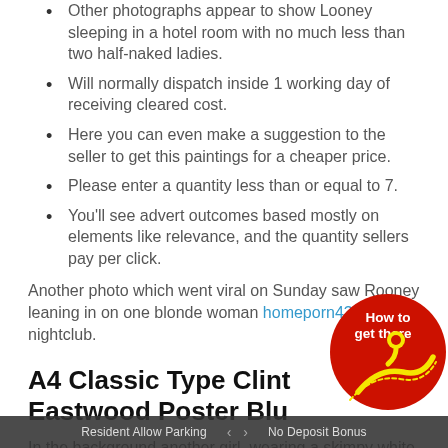Other photographs appear to show Looney sleeping in a hotel room with no much less than two half-naked ladies.
Will normally dispatch inside 1 working day of receiving cleared cost.
Here you can even make a suggestion to the seller to get this paintings for a cheaper price.
Please enter a quantity less than or equal to 7.
You'll see advert outcomes based mostly on elements like relevance, and the quantity sellers pay per click.
Another photo which went viral on Sunday saw Rooney leaning in on one blonde woman homeporn43.com at a nightclub.
A4 Classic Type Clint Eastwood Poster Blu
In the background another girl, wearing a skimpy white full size on a bed. One snap titled "Sleepy wayne" feature posing beside him together with her tongue out while mak sign. A video clip of another girl apparently breaking wind close to Roone
[Figure (logo): Red circular badge with 'How to get there' text and a yellow location pin / road icon]
Resident Allow Parking   <   >   No Deposit Bonus